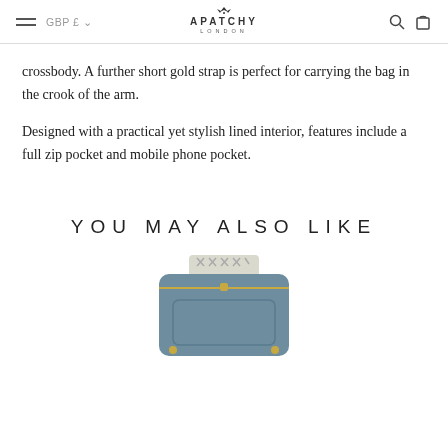GBP £ ∨  APATCHY LONDON
crossbody. A further short gold strap is perfect for carrying the bag in the crook of the arm.
Designed with a practical yet stylish lined interior, features include a full zip pocket and mobile phone pocket.
YOU MAY ALSO LIKE
[Figure (photo): A blue leather crossbody bag with a chevron-patterned strap, shown from above on a white background.]